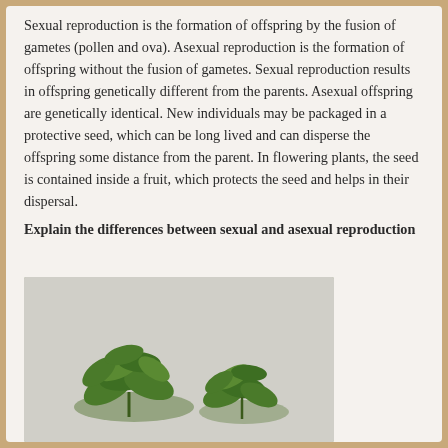Sexual reproduction is the formation of offspring by the fusion of gametes (pollen and ova). Asexual reproduction is the formation of offspring without the fusion of gametes. Sexual reproduction results in offspring genetically different from the parents. Asexual offspring are genetically identical. New individuals may be packaged in a protective seed, which can be long lived and can disperse the offspring some distance from the parent. In flowering plants, the seed is contained inside a fruit, which protects the seed and helps in their dispersal.
Explain the differences between sexual and asexual reproduction
[Figure (photo): Photograph of two small green leafy plant cuttings/seedlings against a light background]